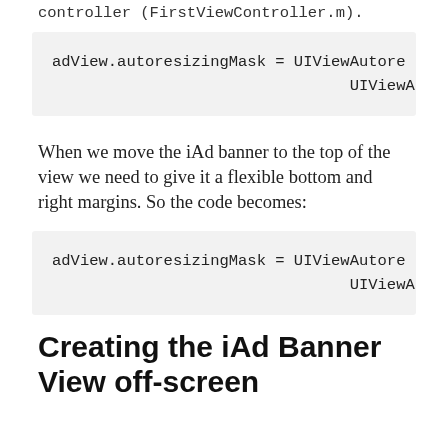controller (FirstViewController.m).
adView.autoresizingMask = UIViewAutore
                                UIViewAutore
When we move the iAd banner to the top of the view we need to give it a flexible bottom and right margins. So the code becomes:
adView.autoresizingMask = UIViewAutore
                                UIViewAutore
Creating the iAd Banner View off-screen